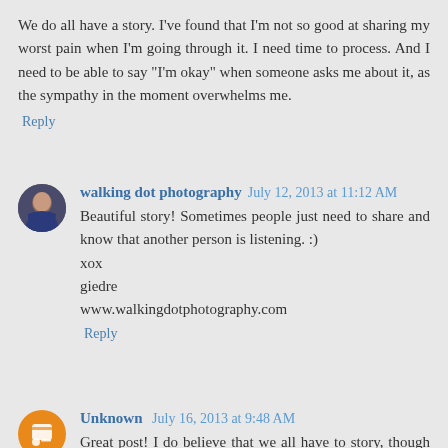We do all have a story. I've found that I'm not so good at sharing my worst pain when I'm going through it. I need time to process. And I need to be able to say "I'm okay" when someone asks me about it, as the sympathy in the moment overwhelms me.
Reply
walking dot photography  July 12, 2013 at 11:12 AM
Beautiful story! Sometimes people just need to share and know that another person is listening. :)
xox
giedre
www.walkingdotphotography.com
Reply
Unknown  July 16, 2013 at 9:48 AM
Great post! I do believe that we all have to story, though some are just not so memorable. I also believe that the darkest of things are likely the ones that need to be shared, because